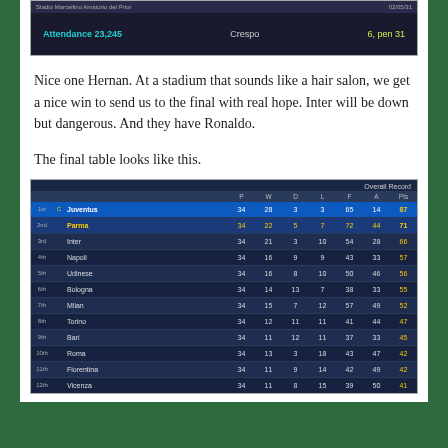[Figure (screenshot): Football match result screenshot showing Attendance 23,245, scorer Crespo 6, pen 31]
Nice one Hernan. At a stadium that sounds like a hair salon, we get a nice win to send us to the final with real hope. Inter will be down but dangerous. And they have Ronaldo.
The final table looks like this.
[Figure (screenshot): Serie A final league table screenshot showing standings with Overall Record columns P, W, D, L, F, A, Pts. 1st Juventus 34 28 3 3 65 14 87; 2nd Parma 34 22 5 7 72 44 71; 3rd Inter 34 21 3 10 54 28 66; 4th Napoli 34 16 9 9 43 33 57; 5th Udinese 34 16 8 10 50 46 56; 6th Bologna 34 14 13 7 38 33 55; 7th Milan 34 15 7 12 57 49 52; 8th Torino 34 12 11 11 41 44 47; 9th Bari 34 11 12 11 37 33 45; 10th Roma 34 13 3 18 43 47 42; 11th Fiorentina 34 11 9 14 42 49 42; 12th Vicenza 34 11 8 15 39 50 41]